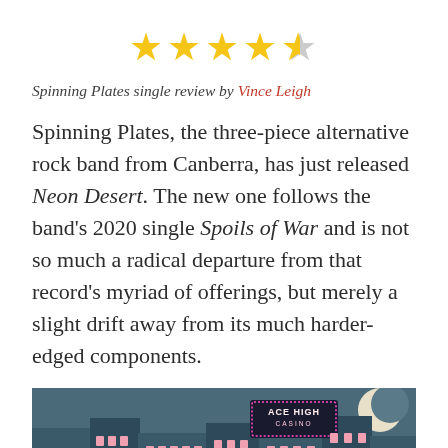[Figure (other): 4.5 out of 5 stars rating: four full gold stars and one half gold/grey star]
Spinning Plates single review by Vince Leigh
Spinning Plates, the three-piece alternative rock band from Canberra, has just released Neon Desert. The new one follows the band's 2020 single Spoils of War and is not so much a radical departure from that record's myriad of offerings, but merely a slight drift away from its much harder-edged components.
[Figure (illustration): Illustration of a city street at night with teal/dark-coloured buildings, pink-lit windows, and a neon sign reading 'ACE HIGH CASINO' with a moon in the background.]